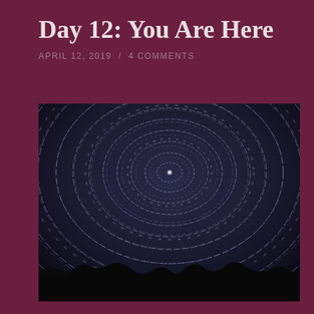Day 12: You Are Here
APRIL 12, 2019  /  4 COMMENTS
[Figure (photo): Long-exposure night sky photograph showing circular star trails converging toward a central point (near Polaris), with dark mountain silhouettes at the bottom. The star trails form concentric arcs across the dark blue-grey sky.]